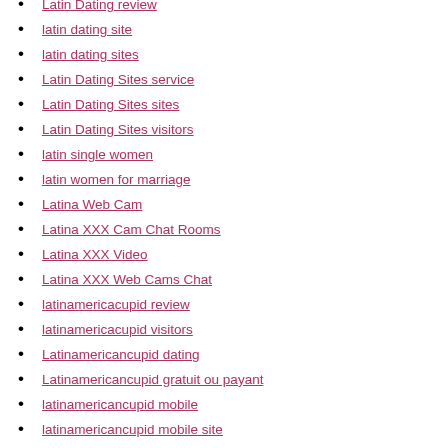Latin Dating review
latin dating site
latin dating sites
Latin Dating Sites service
Latin Dating Sites sites
Latin Dating Sites visitors
latin single women
latin women for marriage
Latina Web Cam
Latina XXX Cam Chat Rooms
Latina XXX Video
Latina XXX Web Cams Chat
latinamericacupid review
latinamericacupid visitors
Latinamericancupid dating
Latinamericancupid gratuit ou payant
latinamericancupid mobile
latinamericancupid mobile site
latinamericancupid reviews
LatinAmericanCupid seiten
Latinamericancupid sign in
latino dating
latinomeetup funziona
LatinoMeetup review
Latinomeetup search